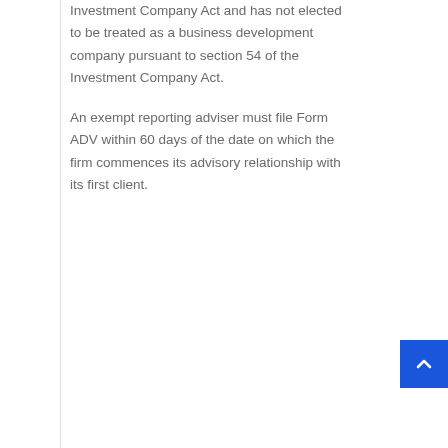Investment Company Act and has not elected to be treated as a business development company pursuant to section 54 of the Investment Company Act.
An exempt reporting adviser must file Form ADV within 60 days of the date on which the firm commences its advisory relationship with its first client.